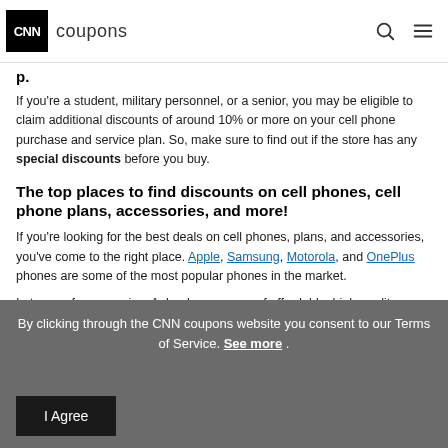CNN coupons
If you're a student, military personnel, or a senior, you may be eligible to claim additional discounts of around 10% or more on your cell phone purchase and service plan. So, make sure to find out if the store has any special discounts before you buy.
The top places to find discounts on cell phones, cell phone plans, accessories, and more!
If you're looking for the best deals on cell phones, plans, and accessories, you've come to the right place. Apple, Samsung, Motorola, and OnePlus phones are some of the most popular phones in the market.
In terms of accessories, Anker has a range of affordable, high-quality options, such as power banks, charging cables, adaptors, and wireless charging docks. Casetify lets you custom design your own cell phone cases and cell phone accessory cases, including AirPod cases. Plus, all these brands and retailers regularly offer special offers and promo codes to
By clicking through the CNN coupons website you consent to our Terms of Service. See more .
I Agree